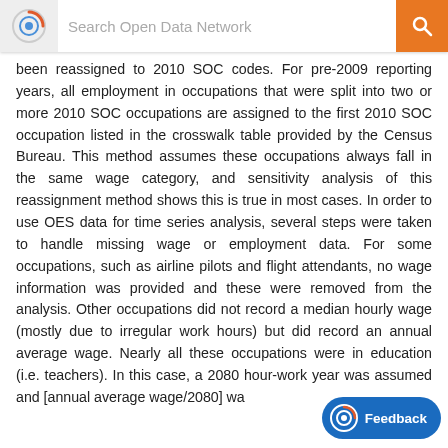Search Open Data Network
been reassigned to 2010 SOC codes. For pre-2009 reporting years, all employment in occupations that were split into two or more 2010 SOC occupations are assigned to the first 2010 SOC occupation listed in the crosswalk table provided by the Census Bureau. This method assumes these occupations always fall in the same wage category, and sensitivity analysis of this reassignment method shows this is true in most cases. In order to use OES data for time series analysis, several steps were taken to handle missing wage or employment data. For some occupations, such as airline pilots and flight attendants, no wage information was provided and these were removed from the analysis. Other occupations did not record a median hourly wage (mostly due to irregular work hours) but did record an annual average wage. Nearly all these occupations were in education (i.e. teachers). In this case, a 2080 hour-work year was assumed and [annual average wage/2080] wa... [truncated]